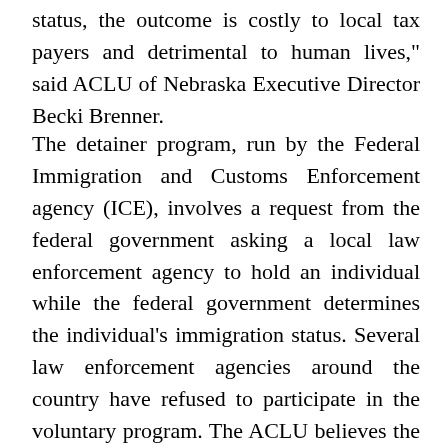status, the outcome is costly to local tax payers and detrimental to human lives," said ACLU of Nebraska Executive Director Becki Brenner.
The detainer program, run by the Federal Immigration and Customs Enforcement agency (ICE), involves a request from the federal government asking a local law enforcement agency to hold an individual while the federal government determines the individual's immigration status. Several law enforcement agencies around the country have refused to participate in the voluntary program. The ACLU believes the letter to all law enforcement agencies is necessary due to complaints about the program and questions from law enforcement officials.